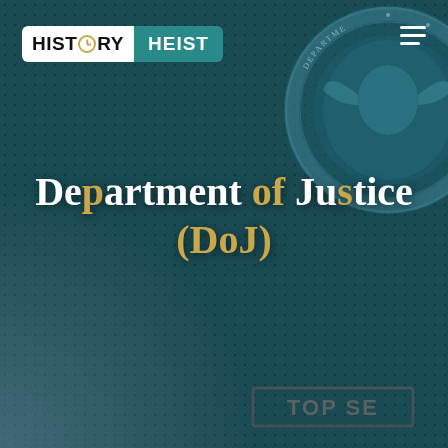[Figure (screenshot): Dark teal background with dot grid texture, DoJ seal visible in upper right, foggy overlay in lower left, 'TOP SE[CRET]' stamp visible in lower right corner. History Heist logo banner in upper left. Hamburger menu icon in upper right.]
Department of Justice (DoJ)